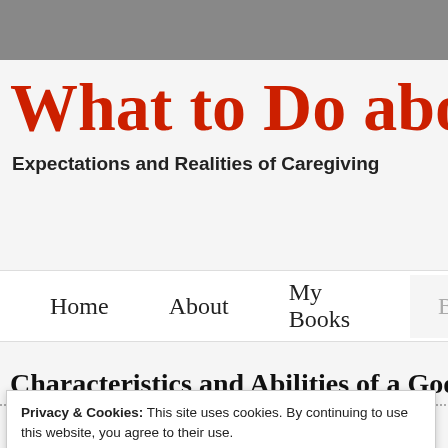What to Do abou
Expectations and Realities of Caregiving
Home   About   My Books   Blog
Characteristics and Abilities of a Goo
Privacy & Cookies: This site uses cookies. By continuing to use this website, you agree to their use.
To find out more, including how to control cookies, see here: Cookie Policy
Close and accept
in response to Joy Johnson's post (See below):  3 required skills for the t